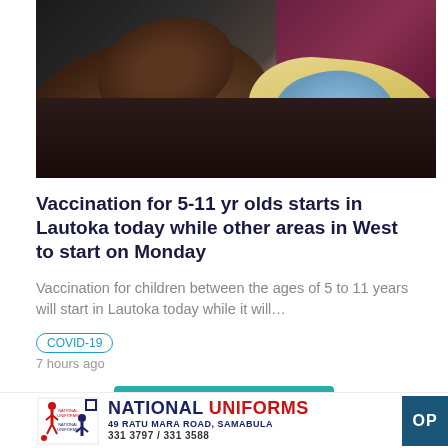[Figure (photo): Close-up of a healthcare worker wearing blue gloves and yellow protective gear administering a vaccine injection to a person's upper arm. The recipient appears to be wearing a dark shirt and a maroon/purple jersey.]
Vaccination for 5-11 yr olds starts in Lautoka today while other areas in West to start on Monday
Vaccination for children between the ages of 5 to 11 years will start in Lautoka today while it will…
COVID-19
7 hours ago
More News
[Figure (logo): National Uniforms logo with red and blue figure graphic, text: NATIONAL UNIFORMS, 49 RATU MARA ROAD, SAMABULA, 331 3797 / 331 3588]